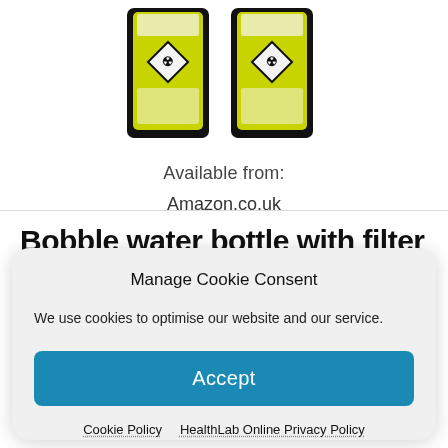[Figure (photo): Two yellow and black hazardous materials cartridges/bottles with hazard warning diamond symbols on labels]
Available from:
Amazon.co.uk
Amazon.com
Bobble water bottle with filter
Manage Cookie Consent
We use cookies to optimise our website and our service.
Accept
Cookie Policy
HealthLab Online Privacy Policy